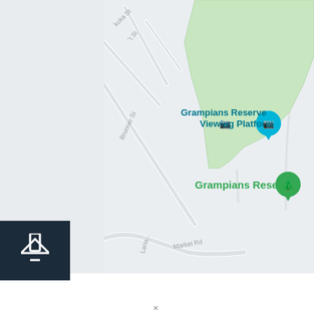[Figure (map): Google Maps screenshot showing Grampians Reserve area with street labels (kuka St, Brunner St, Market Rd), a green park polygon (Grampians Reserve), a teal location pin labeled 'Grampians Reserve Viewing Platform' with camera icon, and a green tree location pin labeled 'Grampians Reserve'. A dark navy navigation/compass arrow button appears on the left side. The bottom portion is white (likely a bottom sheet or panel).]